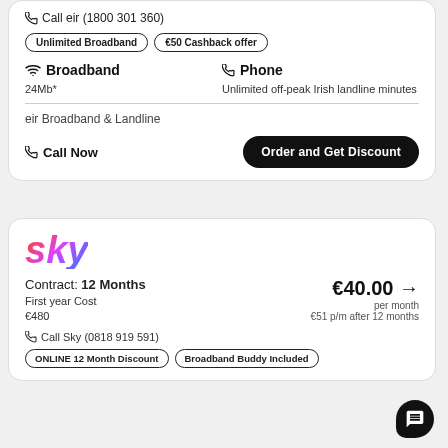Call eir (1800 301 360)
Unlimited Broadband | €50 Cashback offer
Broadband
24Mb*
Phone
Unlimited off-peak Irish landline minutes
eir Broadband & Landline
Call Now
Order and Get Discount
[Figure (logo): Sky logo in gradient orange-pink-purple-blue italic bold text]
Contract: 12 Months
First year Cost
€480
€40.00 → per month
€51 p/m after 12 months
Call Sky (0818 919 591)
ONLINE 12 Month Discount | Broadband Buddy Included